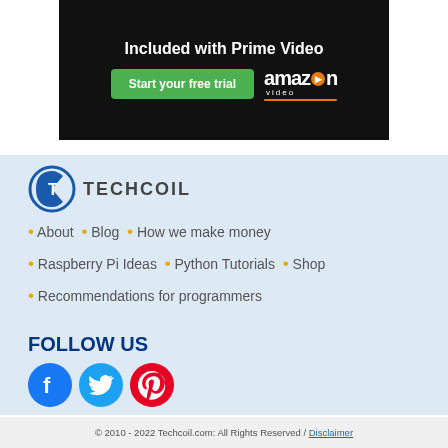[Figure (screenshot): Amazon Prime Video advertisement banner with 'Included with Prime Video' text, a green 'Start your free trial' button, and Amazon Video logo on dark background]
[Figure (logo): TechCoil logo: circular shield-like icon with 'T' symbol in blue, followed by 'TECHCOIL' text in dark gray]
• About  • Blog  • How we make money
• Raspberry Pi Ideas  • Python Tutorials  • Shop
• Recommendations for programmers
FOLLOW US
[Figure (illustration): Three social media icons: Facebook (blue circle with 'f'), Twitter (light blue circle with bird), Pinterest (red circle with 'P')]
© 2010 - 2022 Techcoil.com: All Rights Reserved / Disclaimer